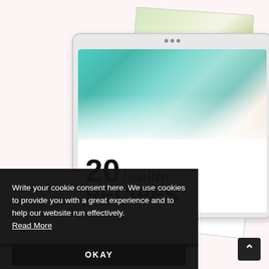[Figure (illustration): A collage showing a tablet device displaying '20 healthy RECIPES' with food photography in the background, overlaid by two other recipe card/book images. A cookie consent banner overlays the bottom portion.]
Write your cookie consent here. We use cookies to provide you with a great experience and to help our website run effectively. Read More
OKAY